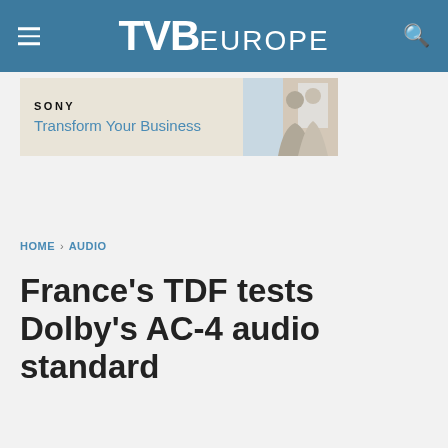TVB EUROPE
[Figure (photo): Sony advertisement banner with text 'SONY Transform Your Business' and image of two business professionals]
HOME › AUDIO
France's TDF tests Dolby's AC-4 audio standard